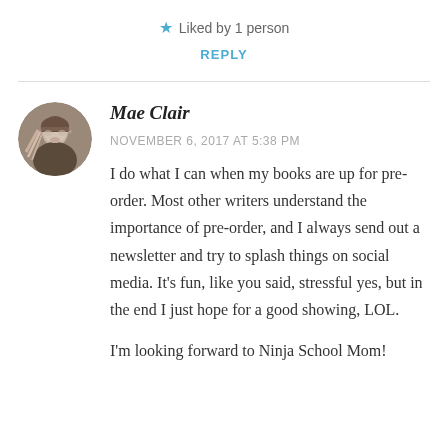★ Liked by 1 person
REPLY
Mae Clair
NOVEMBER 6, 2017 AT 5:38 PM
I do what I can when my books are up for pre-order. Most other writers understand the importance of pre-order, and I always send out a newsletter and try to splash things on social media. It's fun, like you said, stressful yes, but in the end I just hope for a good showing, LOL.
I'm looking forward to Ninja School Mom!